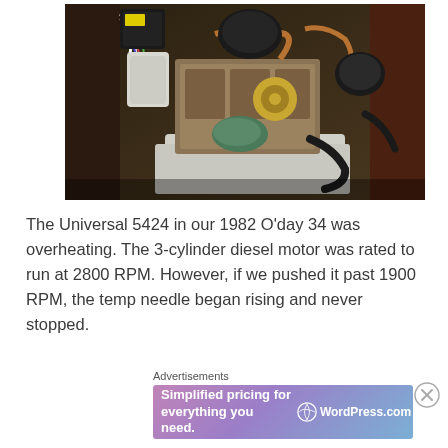[Figure (photo): Photograph of a Universal 5424 diesel engine installed in a boat engine compartment, showing the 3-cylinder engine with various hoses, wires, and mechanical components visible.]
The Universal 5424 in our 1982 O'day 34 was overheating. The 3-cylinder diesel motor was rated to run at 2800 RPM. However, if we pushed it past 1900 RPM, the temp needle began rising and never stopped.
Advertisements
[Figure (screenshot): Advertisement banner for WordPress.com with text 'Simplified pricing for everything you need.' and the WordPress.com logo on a purple-to-blue gradient background.]